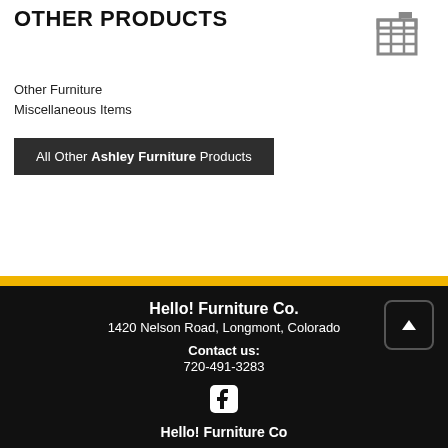OTHER PRODUCTS
Other Furniture
Miscellaneous Items
All Other Ashley Furniture Products
Hello! Furniture Co.
1420 Nelson Road, Longmont, Colorado
Contact us:
720-491-3283
Hello! Furniture Co